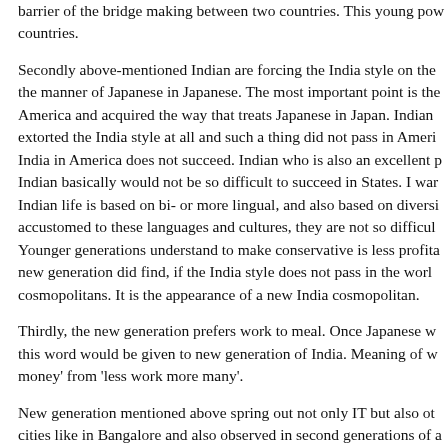barrier of the bridge making between two countries. This young pow countries.
Secondly above-mentioned Indian are forcing the India style on the the manner of Japanese in Japanese. The most important point is the America and acquired the way that treats Japanese in Japan. Indian extorted the India style at all and such a thing did not pass in Ameri India in America does not succeed. Indian who is also an excellent p Indian basically would not be so difficult to succeed in States. I war Indian life is based on bi- or more lingual, and also based on diversi accustomed to these languages and cultures, they are not so difficul Younger generations understand to make conservative is less profita new generation did find, if the India style does not pass in the worl cosmopolitans. It is the appearance of a new India cosmopolitan.
Thirdly, the new generation prefers work to meal. Once Japanese w this word would be given to new generation of India. Meaning of w money' from 'less work more many'.
New generation mentioned above spring out not only IT but also ot cities like in Bangalore and also observed in second generations of a south.
I expect that the young management of Japan would meet and dialo This new dialogue will help to open new era of Indo-Japan relation